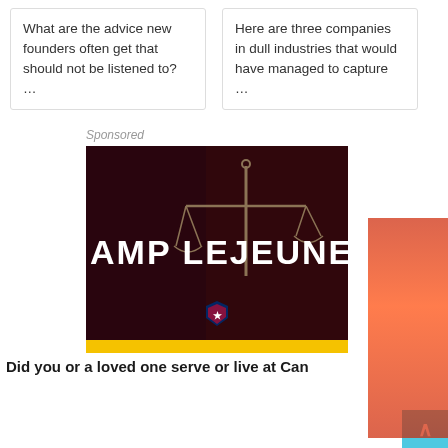What are the advice new founders often get that should not be listened to? …
Here are three companies in dull industries that would have managed to capture …
Sponsored
[Figure (photo): Dark background legal advertisement image showing scales of justice with text 'AMP LEJEUNE' in white bold letters, and a shield badge logo at the bottom, followed by a yellow bar.]
Did you or a loved one serve or live at Can